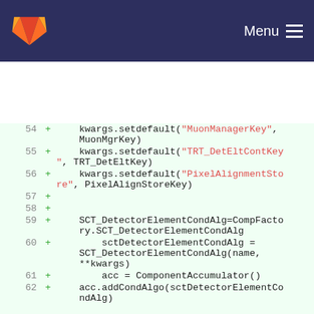GitLab navigation bar with logo and Menu
[Figure (screenshot): GitLab code diff view showing lines 54-62 of a Python file with added lines (marked with +) containing kwargs.setdefault calls and SCT detector element algorithm setup code.]